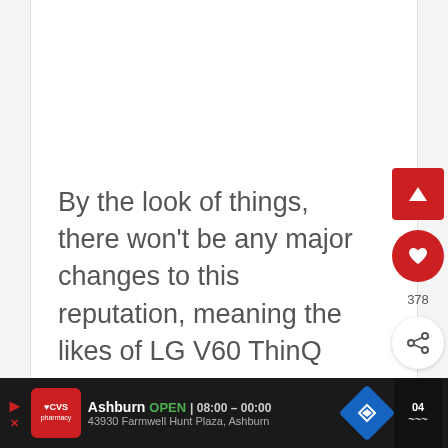By the look of things, there won't be any major changes to this reputation, meaning the likes of LG V60 ThinQ
[Figure (screenshot): Sidebar UI buttons: scroll-to-top red square button, red heart/like button, like count 378, and share button]
[Figure (screenshot): Advertisement bar: CVS Pharmacy ad showing Ashburn location, OPEN 08:00-00:00, 43930 Farmwell Hunt Plaza, Ashburn, with navigation icon]